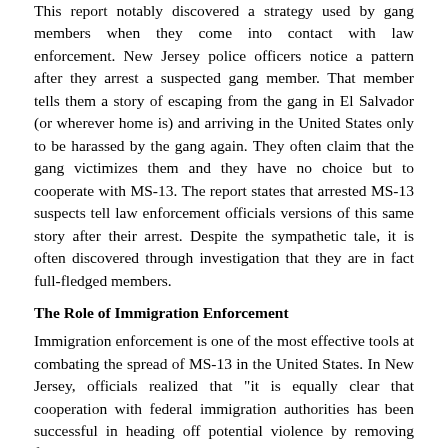This report notably discovered a strategy used by gang members when they come into contact with law enforcement. New Jersey police officers notice a pattern after they arrest a suspected gang member. That member tells them a story of escaping from the gang in El Salvador (or wherever home is) and arriving in the United States only to be harassed by the gang again. They often claim that the gang victimizes them and they have no choice but to cooperate with MS-13. The report states that arrested MS-13 suspects tell law enforcement officials versions of this same story after their arrest. Despite the sympathetic tale, it is often discovered through investigation that they are in fact full-fledged members.
The Role of Immigration Enforcement
Immigration enforcement is one of the most effective tools at combating the spread of MS-13 in the United States. In New Jersey, officials realized that "it is equally clear that cooperation with federal immigration authorities has been successful in heading off potential violence by removing from our communities undocumented gang members with criminal histories." They acknowledge their partnership with Immigration and Customs Enforcement (ICE) as a reason for New Jersey's drop in MS-13 activity over the past three years.
MS-13 specifically threatens immigrant communities. According to